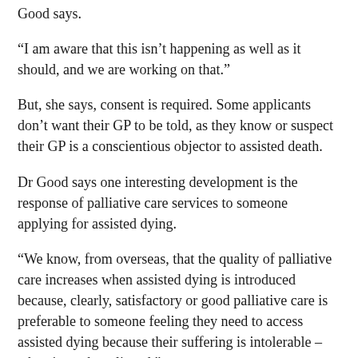Good says.
“I am aware that this isn’t happening as well as it should, and we are working on that.”
But, she says, consent is required. Some applicants don’t want their GP to be told, as they know or suspect their GP is a conscientious objector to assisted death.
Dr Good says one interesting development is the response of palliative care services to someone applying for assisted dying.
“We know, from overseas, that the quality of palliative care increases when assisted dying is introduced because, clearly, satisfactory or good palliative care is preferable to someone feeling they need to access assisted dying because their suffering is intolerable – when it can be relieved.”
The trend has shown up in New Zealand. Some people receiving palliative care have applied for assisted dying